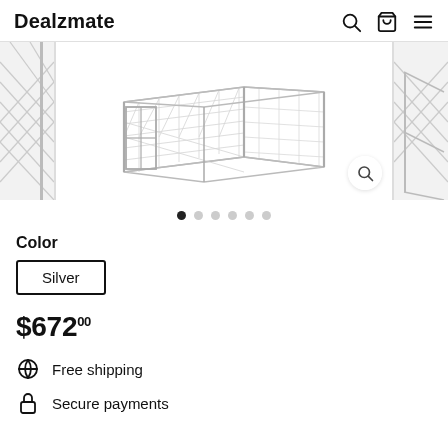Dealzmate
[Figure (photo): Product image carousel showing a metal chain-link dog kennel/cage structure. Main center image shows the kennel at an angle with gate visible. Partial views on left and right sides.]
Color
Silver
$672.00
Free shipping
Secure payments